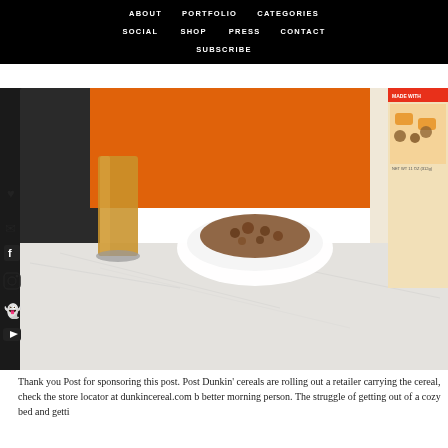ABOUT  PORTFOLIO  CATEGORIES  SOCIAL  SHOP  PRESS  CONTACT  SUBSCRIBE
[Figure (photo): A styled flat-lay / countertop scene showing a glass of iced coffee or juice, a white bowl of chocolate cereal, an orange sweater in the background, and a Post Dunkin' cereal box partially visible on the right side. The surface is white marble. Social media icons (heart, email, Facebook, Instagram, Snapchat, YouTube) are visible on the left sidebar.]
Thank you Post for sponsoring this post. Post Dunkin' cereals are rolling out a retailer carrying the cereal, check the store locator at dunkincereal.com b better morning person. The struggle of getting out of a cozy bed and getti